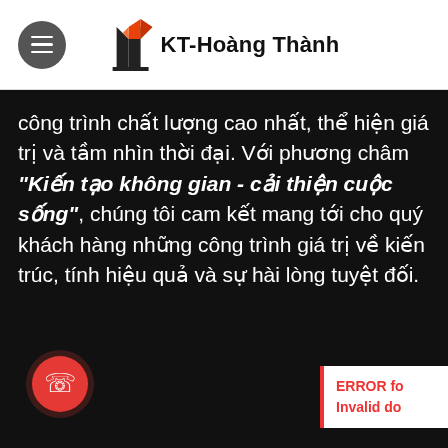KT-Hoàng Thành
công trình chất lượng cao nhất, thể hiện giá trị và tầm nhìn thời đại. Với phương châm "Kiến tạo không gian - cải thiện cuộc sống", chúng tôi cam kết mang tới cho quý khách hàng những công trình giá trị về kiến trúc, tính hiệu quả và sự hài lòng tuyệt đối.
[Figure (illustration): Red phone call button (circular red icon with white phone handset)]
ERROR fo Invalid do